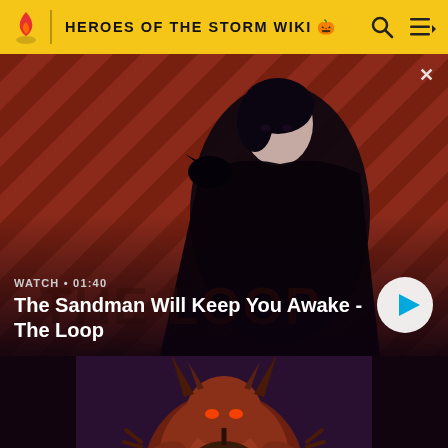HEROES OF THE STORM WIKI
[Figure (screenshot): Video thumbnail showing a dark-clad pale figure with a raven on shoulder, diagonal stripe background in dark red/brown tones. Watch • 01:40 label visible.]
WATCH • 01:40
The Sandman Will Keep You Awake - The Loop
[Figure (illustration): Fantasy game character art showing a large horned demon/beast creature with brown reddish skin holding a spiked weapon, on a dark purple background.]